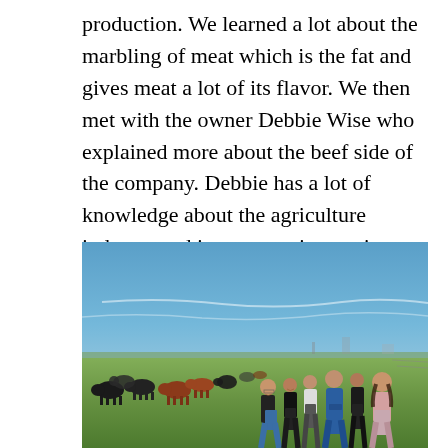production. We learned a lot about the marbling of meat which is the fat and gives meat a lot of its flavor. We then met with the owner Debbie Wise who explained more about the beef side of the company. Debbie has a lot of knowledge about the agriculture industry and it was very interesting listening to all she had to say.
[Figure (photo): A group of students standing in a green field with cattle (black and brown cows) in the background, under a blue sky with light clouds.]